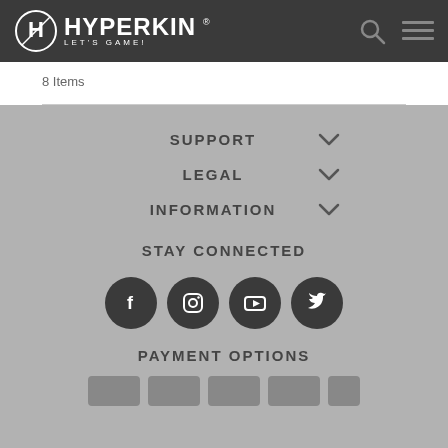Hyperkin - Let's Game! (logo and navigation)
8 Items
SUPPORT
LEGAL
INFORMATION
STAY CONNECTED
[Figure (other): Social media icons: Facebook, Instagram, YouTube, Twitter]
PAYMENT OPTIONS
[Figure (other): Payment method card icons (partially visible)]